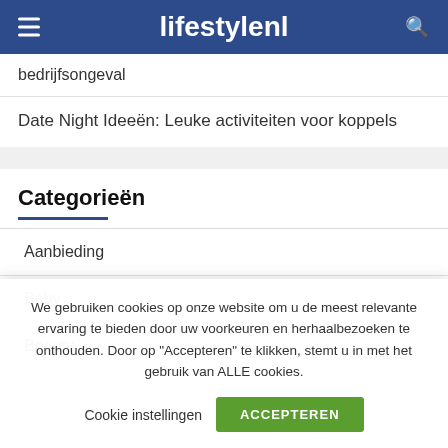lifestylenl
bedrijfsongeval
Date Night Ideeën: Leuke activiteiten voor koppels
Categorieën
Aanbieding
Baby
Beauty
We gebruiken cookies op onze website om u de meest relevante ervaring te bieden door uw voorkeuren en herhaalbezoeken te onthouden. Door op "Accepteren" te klikken, stemt u in met het gebruik van ALLE cookies.
Cookie instellingen   ACCEPTEREN